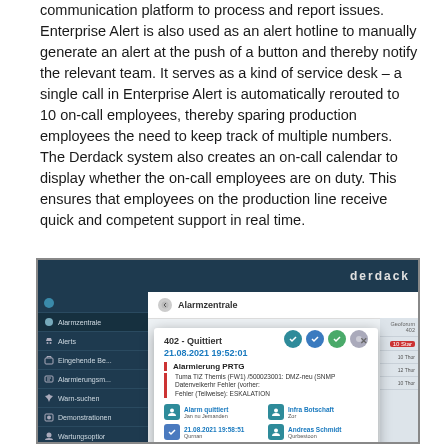communication platform to process and report issues. Enterprise Alert is also used as an alert hotline to manually generate an alert at the push of a button and thereby notify the relevant team. It serves as a kind of service desk – a single call in Enterprise Alert is automatically rerouted to 10 on-call employees, thereby sparing production employees the need to keep track of multiple numbers. The Derdack system also creates an on-call calendar to display whether the on-call employees are on duty. This ensures that employees on the production line receive quick and competent support in real time.
[Figure (screenshot): Screenshot of Derdack Enterprise Alert software showing the Alarmzentrale (alarm center) interface with a modal dialog displaying alarm '402 - Quittiert' dated 21.08.2021 19:52:01, showing an Alarmierung PRTG notification about Tuma TIZ Themis (FW1) with escalation details, action buttons including Alarm quittiert, Infra Botschaft, and other options.]